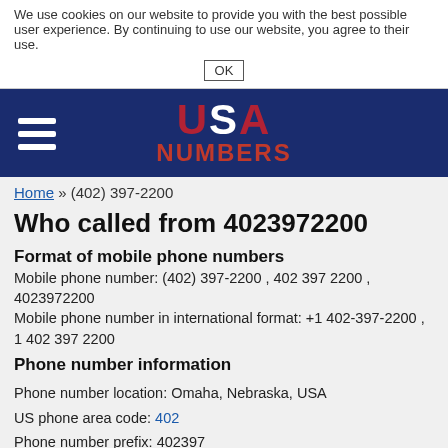We use cookies on our website to provide you with the best possible user experience. By continuing to use our website, you agree to their use. OK
[Figure (logo): USA Numbers website logo with hamburger menu icon on dark blue navigation bar. USA text in red/white striped stars-and-stripes style, NUMBERS in red bold text below.]
Home » (402) 397-2200
Who called from 4023972200
Format of mobile phone numbers
Mobile phone number: (402) 397-2200 , 402 397 2200 , 4023972200
Mobile phone number in international format: +1 402-397-2200 , 1 402 397 2200
Phone number information
Phone number location: Omaha, Nebraska, USA
US phone area code: 402
Phone number prefix: 402397
Rating: